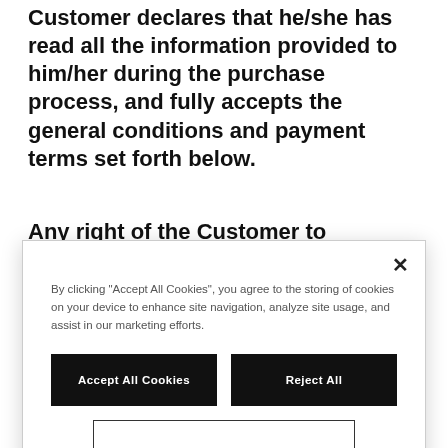Customer declares that he/she has read all the information provided to him/her during the purchase process, and fully accepts the general conditions and payment terms set forth below.
Any right of the Customer to damages or compensation...
[Figure (screenshot): Cookie consent modal dialog with close button (×), explanatory text about cookie usage, and two buttons: 'Accept All Cookies' (black) and 'Reject All' (black), plus a partially visible third button below.]
5.1. The prices of the Products published on the homepage or in the various sections of the website are inclusive of VAT and do not include any taxes, duties and duties applicable in the country of destination of the Products, where this is different from Italy, which will be borne by the